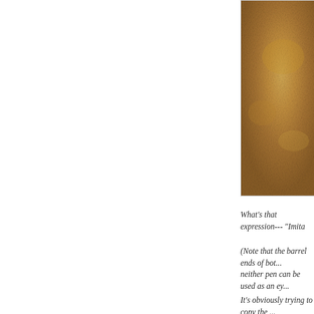[Figure (photo): Close-up photo of a golden-brown mottled surface, likely pen barrel material with warm amber tones]
What's that expression--- "Imita...
(Note that the barrel ends of bot... neither pen can be used as an ey...
It's obviously trying to copy the ... cool look to it already, so there r... small design features. I really lik... extra $20 CAD for my new Pelik... made pen, and it comes with a w... fountain pens, though, and neith...
(photos & review by Maja)
POSTED BY VANCOUVER PEN... LABELS: PELIKAN, PHOTOS, U...